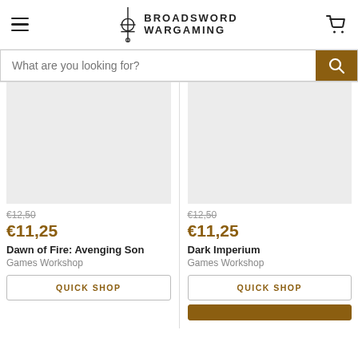Broadsword Wargaming — navigation header with hamburger menu, logo, and cart icon
What are you looking for?
[Figure (screenshot): Product card: Dawn of Fire: Avenging Son, Games Workshop, €12,50 original price, €11,25 sale price, light grey placeholder image, Quick Shop button]
[Figure (screenshot): Product card: Dark Imperium, Games Workshop, €12,50 original price, €11,25 sale price, light grey placeholder image, Quick Shop button]